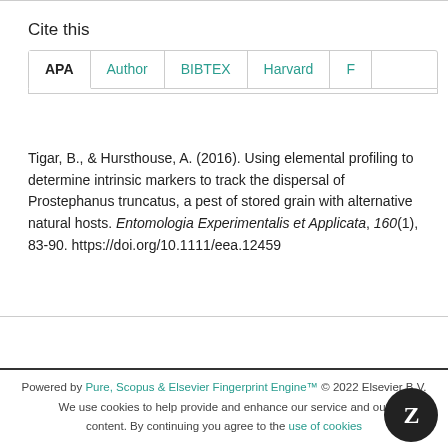Cite this
APA | Author | BIBTEX | Harvard | F
Tigar, B., & Hursthouse, A. (2016). Using elemental profiling to determine intrinsic markers to track the dispersal of Prostephanus truncatus, a pest of stored grain with alternative natural hosts. Entomologia Experimentalis et Applicata, 160(1), 83-90. https://doi.org/10.1111/eea.12459
Powered by Pure, Scopus & Elsevier Fingerprint Engine™ © 2022 Elsevier B.V.
We use cookies to help provide and enhance our service and our content. By continuing you agree to the use of cookies